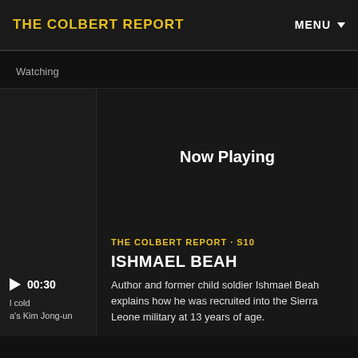THE COLBERT REPORT
Watching
[Figure (screenshot): Video thumbnail placeholder with play button and duration 00:30]
Now Playing
THE COLBERT REPORT · S10
ISHMAEL BEAH
Author and former child soldier Ishmael Beah explains how he was recruited into the Sierra Leone military at 13 years of age.